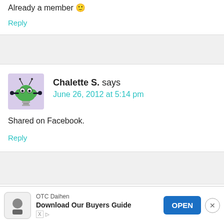Already a member 🙂
Reply
[Figure (illustration): Avatar icon of a cartoon green alien/robot character with antennae on a purple/lavender background]
Chalette S. says
June 26, 2012 at 5:14 pm
Shared on Facebook.
Reply
[Figure (illustration): Avatar icon of a cartoon brain character]
Vicki says
OTC Daihen
Download Our Buyers Guide OPEN